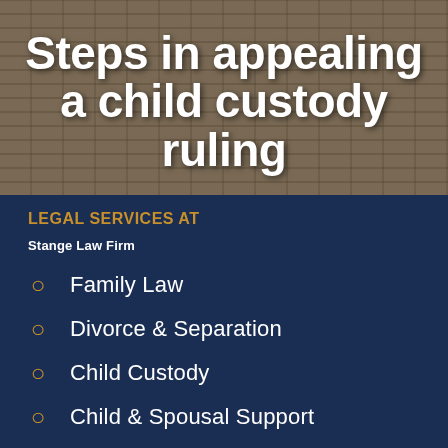Steps in appealing a child custody ruling
LEGAL SERVICES AT
Stange Law Firm
Family Law
Divorce & Separation
Child Custody
Child & Spousal Support
Property Division